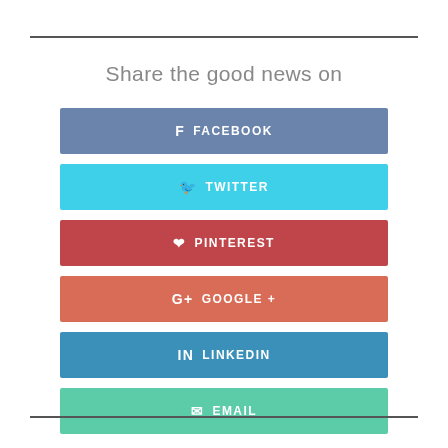Share the good news on
FACEBOOK
TWITTER
PINTEREST
GOOGLE +
LINKEDIN
EMAIL